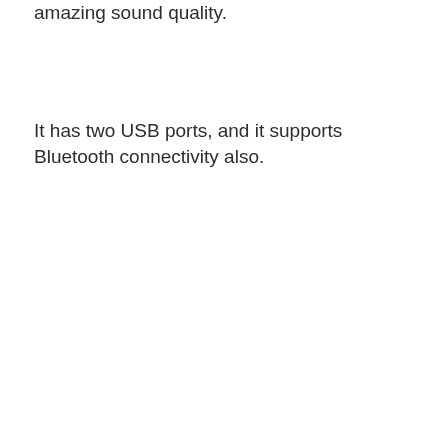amazing sound quality.
It has two USB ports, and it supports Bluetooth connectivity also.